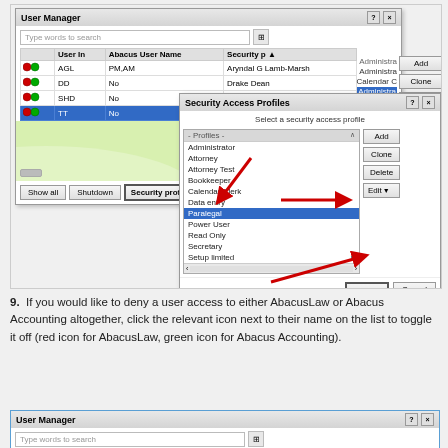[Figure (screenshot): Screenshot of AbacusLaw User Manager dialog with Security Access Profiles dialog overlaid, showing user list with icons, security profile list including Paralegal selected, and red arrows pointing to Security profile button and Done button]
9. If you would like to deny a user access to either AbacusLaw or Abacus Accounting altogether, click the relevant icon next to their name on the list to toggle it off (red icon for AbacusLaw, green icon for Abacus Accounting).
[Figure (screenshot): Partial screenshot of User Manager dialog showing title bar and Type words to search field]